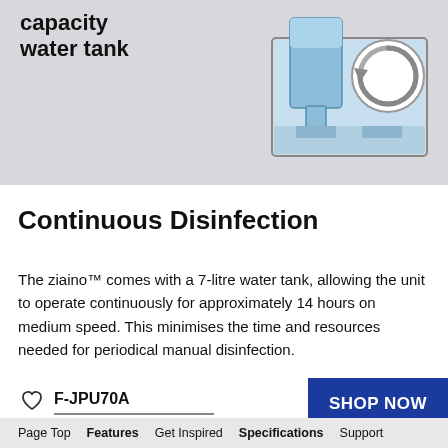[Figure (illustration): Product diagram showing a water tank unit with a circular recycling/refresh arrow icon, in blue and grey tones on a light grey background. Top-left shows bold text 'capacity water tank'.]
Continuous Disinfection
The ziaino™ comes with a 7-litre water tank, allowing the unit to operate continuously for approximately 14 hours on medium speed. This minimises the time and resources needed for periodical manual disinfection.
F-JPU70A
SHOP NOW
Page Top   Features   Get Inspired   Specifications   Support